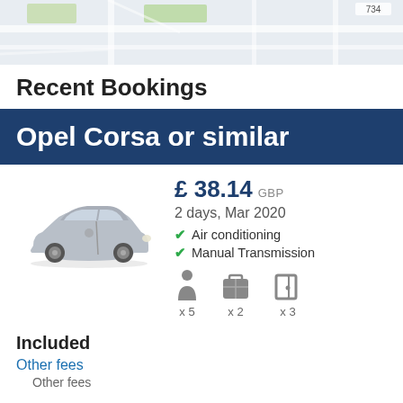[Figure (map): Street map background strip showing roads and green areas]
Recent Bookings
Opel Corsa or similar
[Figure (photo): Photo of a silver Opel Corsa hatchback car]
£ 38.14 GBP
2 days, Mar 2020
✔ Air conditioning
✔ Manual Transmission
x 5  x 2  x 3
Included
Other fees
Other fees